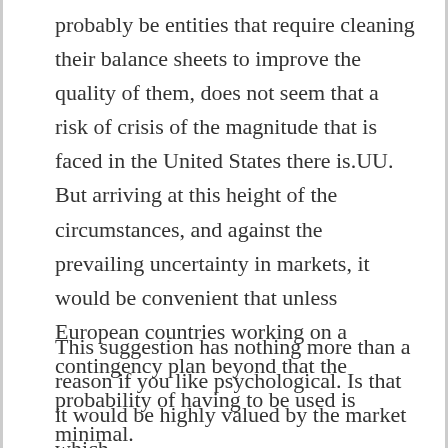probably be entities that require cleaning their balance sheets to improve the quality of them, does not seem that a risk of crisis of the magnitude that is faced in the United States there is.UU. But arriving at this height of the circumstances, and against the prevailing uncertainty in markets, it would be convenient that unless European countries working on a contingency plan beyond that the probability of having to be used is minimal.
This suggestion has nothing more than a reason if you like psychological. Is that it would be highly valued by the market which